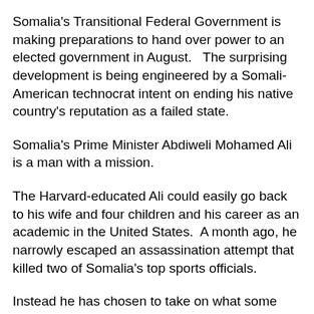Somalia's Transitional Federal Government is making preparations to hand over power to an elected government in August.   The surprising development is being engineered by a Somali-American technocrat intent on ending his native country's reputation as a failed state.
Somalia's Prime Minister Abdiweli Mohamed Ali is a man with a mission.
The Harvard-educated Ali could easily go back to his wife and four children and his career as an academic in the United States.  A month ago, he narrowly escaped an assassination attempt that killed two of Somalia's top sports officials.
Instead he has chosen to take on what some might